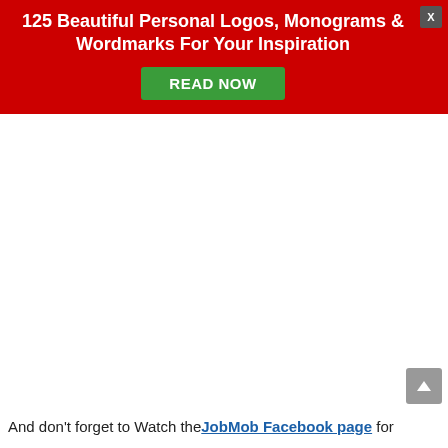125 Beautiful Personal Logos, Monograms & Wordmarks For Your Inspiration
[Figure (other): Green READ NOW button on red banner background with close X button]
And don't forget to Watch the JobMob Facebook page for